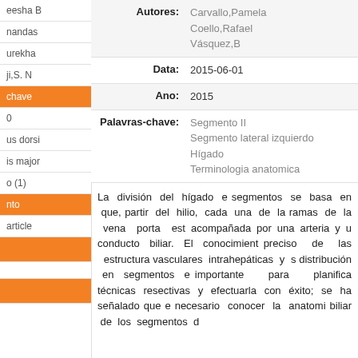eesha B
nandas
urekha
ji,S. N
chave (orange)
0
us dorsi
is major
o (1)
nto (orange)
article
| Field | Value |
| --- | --- |
| Autores: | Carvallo,Pamela
Coello,Rafael
Vásquez,B |
| Data: | 2015-06-01 |
| Ano: | 2015 |
| Palavras-chave: | Segmento II
Segmento lateral izquierdo
Hígado
Terminologia anatomica |
La división del hígado e segmentos se basa en que, partir del hilio, cada una de la ramas de la vena porta est acompañada por una arteria y u conducto biliar. El conocimient preciso de las estructura vasculares intrahepáticas y s distribución en segmentos e importante para planifica técnicas resectivas y efectuarla con éxito; se ha señalado que e necesario conocer la anatomi biliar de los segmentos d